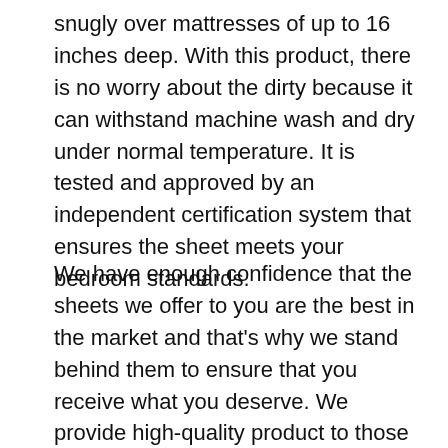snugly over mattresses of up to 16 inches deep. With this product, there is no worry about the dirty because it can withstand machine wash and dry under normal temperature. It is tested and approved by an independent certification system that ensures the sheet meets your bedroom standards.
We have enough confidence that the sheets we offer to you are the best in the market and that's why we stand behind them to ensure that you receive what you deserve. We provide high-quality product to those in need to upscale living standard and make you comfortable. They are tailored by highly qualified personnel who ensure the classic finish of the product.